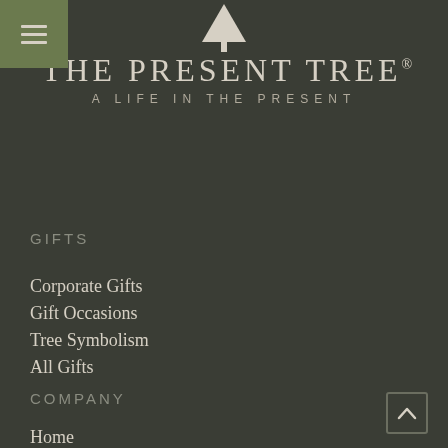[Figure (logo): The Present Tree logo with tree icon, brand name, and tagline 'A Life in the Present']
GIFTS
Corporate Gifts
Gift Occasions
Tree Symbolism
All Gifts
COMPANY
Home